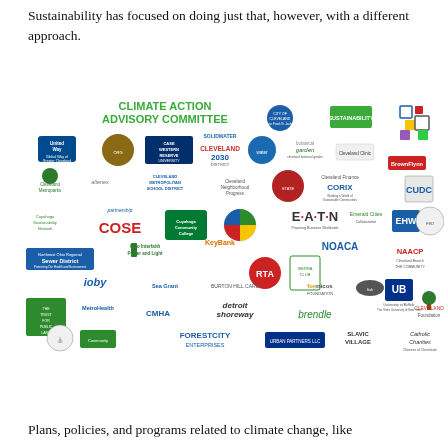Sustainability has focused on doing just that, however, with a different approach.
[Figure (infographic): Climate Action Advisory Committee logo collage showing logos of many Cleveland-area organizations including United Way, Case Western Reserve, Cleveland Metropolitan School District, COSE, KeyBank, NOACA, NAACP, Cleveland Foundation, ForestCity Enterprises, Catholic Charities, and many others arranged around the central 'CLIMATE ACTION ADVISORY COMMITTEE' text in green.]
Plans, policies, and programs related to climate change, like